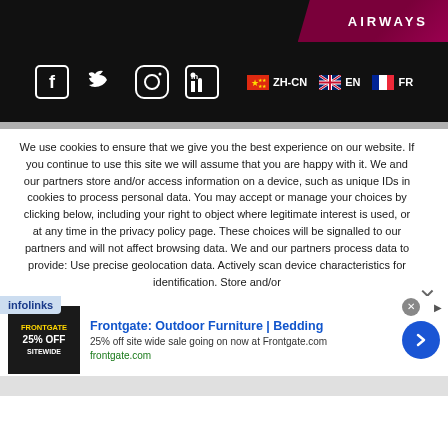[Figure (screenshot): Airways airline banner with dark maroon/burgundy background and white AIRWAYS text]
[Figure (screenshot): Social media icons (Facebook, Twitter, Instagram, LinkedIn) and language selectors (ZH-CN with Chinese flag, EN with UK flag, FR with French flag) on black background]
We use cookies to ensure that we give you the best experience on our website. If you continue to use this site we will assume that you are happy with it. We and our partners store and/or access information on a device, such as unique IDs in cookies to process personal data. You may accept or manage your choices by clicking below, including your right to object where legitimate interest is used, or at any time in the privacy policy page. These choices will be signalled to our partners and will not affect browsing data. We and our partners process data to provide: Use precise geolocation data. Actively scan device characteristics for identification. Store and/or
[Figure (screenshot): Infolinks ad label and Frontgate outdoor furniture advertisement banner with 25% off sitewide sale]